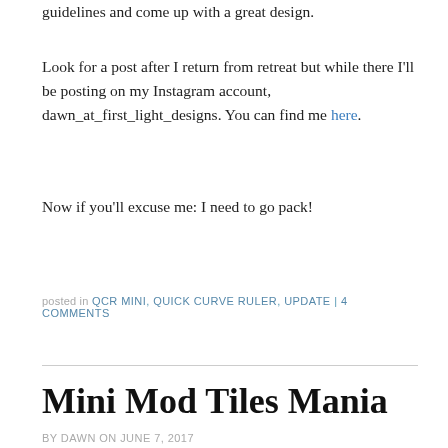guidelines and come up with a great design.
Look for a post after I return from retreat but while there I'll be posting on my Instagram account, dawn_at_first_light_designs. You can find me here.
Now if you’ll excuse me: I need to go pack!
posted in QCR MINI, QUICK CURVE RULER, UPDATE | 4 COMMENTS
Mini Mod Tiles Mania
by DAWN on JUNE 7, 2017